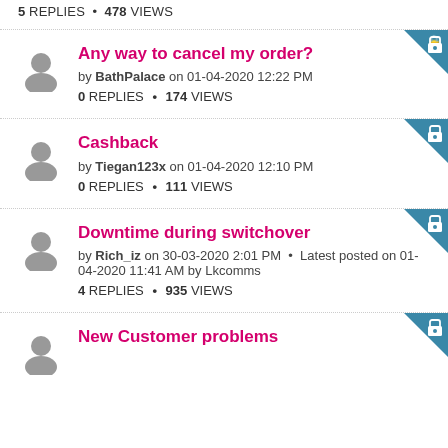5 REPLIES • 478 VIEWS
Any way to cancel my order? by BathPalace on 01-04-2020 12:22 PM — 0 REPLIES • 174 VIEWS
Cashback by Tiegan123x on 01-04-2020 12:10 PM — 0 REPLIES • 111 VIEWS
Downtime during switchover by Rich_iz on 30-03-2020 2:01 PM • Latest posted on 01-04-2020 11:41 AM by Lkcomms — 4 REPLIES • 935 VIEWS
New Customer problems